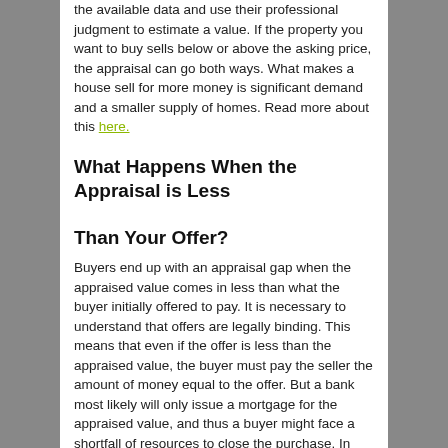the available data and use their professional judgment to estimate a value. If the property you want to buy sells below or above the asking price, the appraisal can go both ways. What makes a house sell for more money is significant demand and a smaller supply of homes. Read more about this here.
What Happens When the Appraisal is Less Than Your Offer?
Buyers end up with an appraisal gap when the appraised value comes in less than what the buyer initially offered to pay. It is necessary to understand that offers are legally binding. This means that even if the offer is less than the appraised value, the buyer must pay the seller the amount of money equal to the offer. But a bank most likely will only issue a mortgage for the appraised value, and thus a buyer might face a shortfall of resources to close the purchase. In this case, the buyer will need to find a way to pay the difference between the appraised value and the purchase price beyond the down payment and the approved mortgage line.